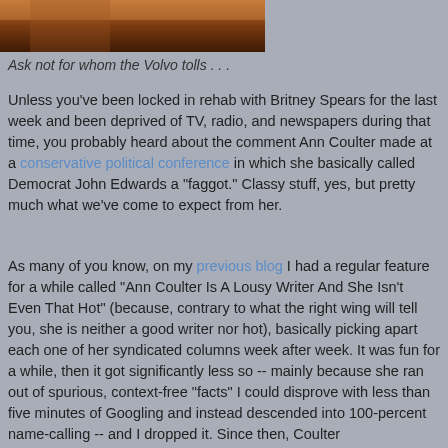[Figure (photo): Partial photo showing a dark brown surface, appears to be a cropped image cut off at the top of the page.]
Ask not for whom the Volvo tolls . . .
Unless you've been locked in rehab with Britney Spears for the last week and been deprived of TV, radio, and newspapers during that time, you probably heard about the comment Ann Coulter made at a conservative political conference in which she basically called Democrat John Edwards a "faggot." Classy stuff, yes, but pretty much what we've come to expect from her.
As many of you know, on my previous blog I had a regular feature for a while called "Ann Coulter Is A Lousy Writer And She Isn't Even That Hot" (because, contrary to what the right wing will tell you, she is neither a good writer nor hot), basically picking apart each one of her syndicated columns week after week. It was fun for a while, then it got significantly less so -- mainly because she ran out of spurious, context-free "facts" I could disprove with less than five minutes of Googling and instead descended into 100-percent name-calling -- and I dropped it. Since then, Coulter